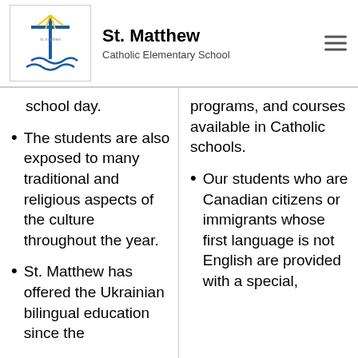St. Matthew Catholic Elementary School
school day.
The students are also exposed to many traditional and religious aspects of the culture throughout the year.
St. Matthew has offered the Ukrainian bilingual education since the
programs, and courses available in Catholic schools.
Our students who are Canadian citizens or immigrants whose first language is not English are provided with a special,